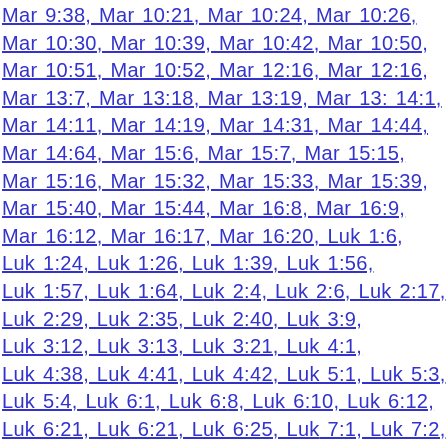Mar 9:38, Mar 10:21, Mar 10:24, Mar 10:26, Mar 10:30, Mar 10:39, Mar 10:42, Mar 10:50, Mar 10:51, Mar 10:52, Mar 12:16, Mar 12:16, Mar 13:7, Mar 13:18, Mar 13:19, Mar 14:1, Mar 14:11, Mar 14:19, Mar 14:31, Mar 14:44, Mar 14:64, Mar 15:6, Mar 15:7, Mar 15:15, Mar 15:16, Mar 15:32, Mar 15:33, Mar 15:39, Mar 15:40, Mar 15:44, Mar 16:8, Mar 16:9, Mar 16:12, Mar 16:17, Mar 16:20, Luk 1:6, Luk 1:24, Luk 1:26, Luk 1:39, Luk 1:56, Luk 1:57, Luk 1:64, Luk 2:4, Luk 2:6, Luk 2:17, Luk 2:29, Luk 2:35, Luk 2:40, Luk 3:9, Luk 3:12, Luk 3:13, Luk 3:21, Luk 4:1, Luk 4:38, Luk 4:41, Luk 4:42, Luk 5:1, Luk 5:3, Luk 5:4, Luk 6:1, Luk 6:8, Luk 6:10, Luk 6:12, Luk 6:21, Luk 6:21, Luk 6:25, Luk 7:1, Luk 7:2, Luk 7:3, Luk 7:4, Luk 7:6, Luk 7:6, Luk 7:9, Luk 7:14, Luk 7:16, Luk 7:20, Luk 7:24, Luk 7:36, Luk 7:39, Luk 8:11, Luk 8:16, Luk 8:19, Luk 8:22, Luk 8:24, Luk 8:25, Luk 8:30, Luk 8:30, Luk 8:32, Luk 8:33, Luk 8:34, Luk 8:35, Luk 8:47, Luk 8:48, Luk 8:51, Luk 8:52, Luk 8:56, Luk 9:1, Luk 9:9, Luk 9:10, Luk 9:12, Luk 9:14, Luk 9:16, Luk 9:23, Luk 9:34, Luk 9:37, Luk 9:43, Luk 9:46, Luk 9:51, Luk 9:54, Luk 10:5, Luk 10:7, Luk 10:17, Luk 10:32, Luk 10:37, Luk 11:2, Luk 11:14, Luk 11:27, Luk 11:29, Luk 11:37, Luk 11:38, Luk 11:53, Luk 12:8, Luk 12:13, Luk 12:15, Luk 12:16, Luk 12:54, Luk 13:1, Luk 13:6, Luk 13:7, Luk 13:10, Luk 13:12, Luk 13:16, Luk 13:18, Luk 13:23, Luk 14:7, Luk 14:12, Luk 14:25, Luk 15:1, Luk 15:3, Luk 15:11, Luk 15:14, Luk 15: